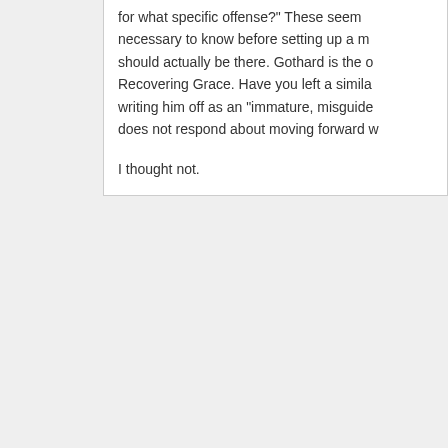for what specific offense?" These seem necessary to know before setting up a m should actually be there. Gothard is the o Recovering Grace. Have you left a simila writing him off as an "immature, misguide does not respond about moving forward w
I thought not.
[Figure (illustration): Generic user avatar placeholder image — grey silhouette of a person on a grey background]
Annie February 4, 2014

You know, It feels as if according to his folly, b am in the corporate wo is going to conduct the ONE! Mr. G is so right writing. You say you ha this...send THEM over when you grow up...yo regrets.